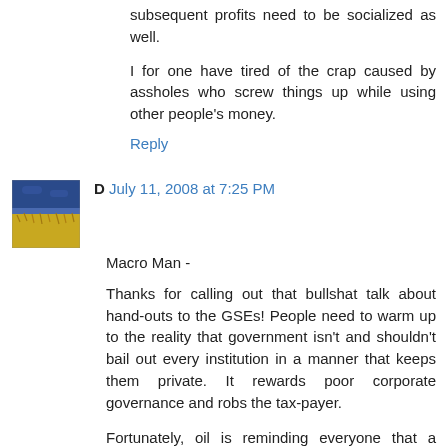subsequent profits need to be socialized as well.
I for one have tired of the crap caused by assholes who screw things up while using other people's money.
Reply
[Figure (photo): Small avatar thumbnail showing a yellow and blue abstract image, likely a field or nature scene.]
D  July 11, 2008 at 7:25 PM
Macro Man -
Thanks for calling out that bullshat talk about hand-outs to the GSEs! People need to warm up to the reality that government isn't and shouldn't bail out every institution in a manner that keeps them private. It rewards poor corporate governance and robs the tax-payer.
Fortunately, oil is reminding everyone that a dollar revaluation (printing) is not a viable option.
Deflation is well underway, we are seeing the lagging effects of the oil-USD recycling racket come to a head.